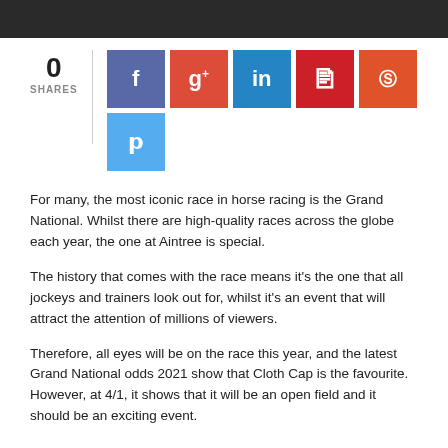[Figure (photo): Dark top image bar, likely a horse racing photo]
0
SHARES
[Figure (infographic): Social media share buttons: Facebook, Google+, LinkedIn, Pinterest, StumbleUpon, Twitter]
For many, the most iconic race in horse racing is the Grand National. Whilst there are high-quality races across the globe each year, the one at Aintree is special.
The history that comes with the race means it’s the one that all jockeys and trainers look out for, whilst it’s an event that will attract the attention of millions of viewers.
Therefore, all eyes will be on the race this year, and the latest Grand National odds 2021 show that Cloth Cap is the favourite. However, at 4/1, it shows that it will be an open field and it should be an exciting event.